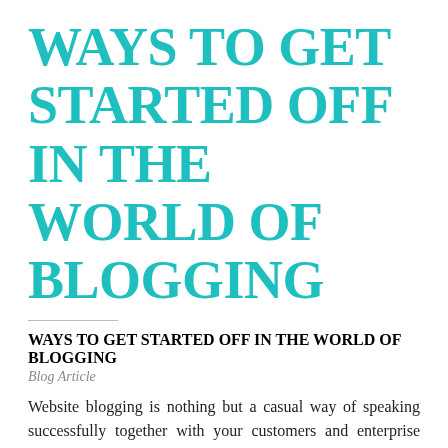WAYS TO GET STARTED OFF IN THE WORLD OF BLOGGING
WAYS TO GET STARTED OFF IN THE WORLD OF BLOGGING
Blog Article
Website blogging is nothing but a casual way of speaking successfully together with your customers and enterprise representatives. Do not enable https://www.instapaper.com/p/gamewaste5 of this new type of modern technology help you feel not comfortable. Rather, take hold of the method with eagerness and a good technique, by employing the